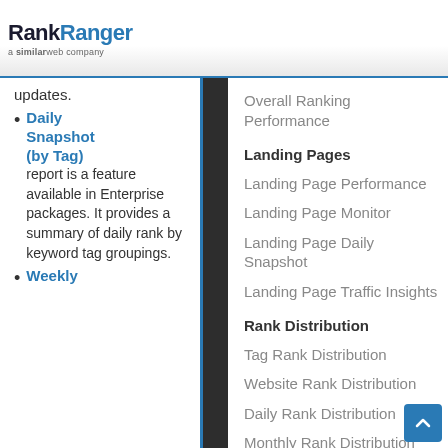RankRanger — a similarweb company
updates.
Daily Snapshot (by Tag) report is a feature available in Enterprise packages. It provides a summary of daily rank by keyword tag groupings.
Weekly
Overall Ranking Performance
Landing Pages
Landing Page Performance
Landing Page Monitor
Landing Page Daily Snapshot
Landing Page Traffic Insights
Rank Distribution
Tag Rank Distribution
Website Rank Distribution
Daily Rank Distribution
Monthly Rank Distribution